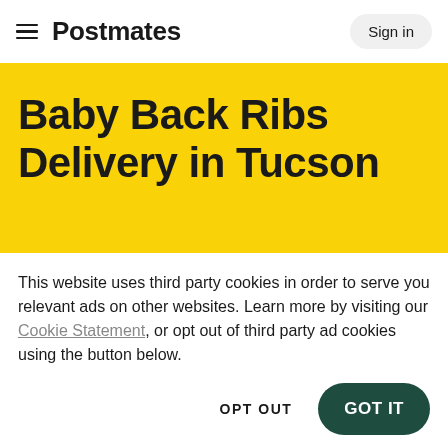Postmates  Sign in
Baby Back Ribs Delivery in Tucson
This website uses third party cookies in order to serve you relevant ads on other websites. Learn more by visiting our Cookie Statement, or opt out of third party ad cookies using the button below.
OPT OUT  GOT IT